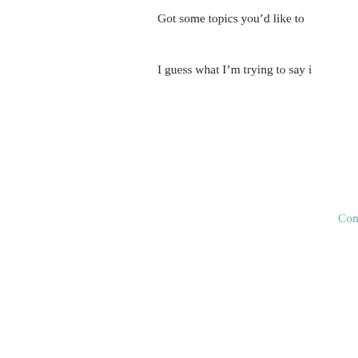Got some topics you'd like to
I guess what I'm trying to say i
Cond
Search ...
Recent Posts
Exclusive Artist Interview with Ali Critelli
Best of the Booth is Back! Time to Join the